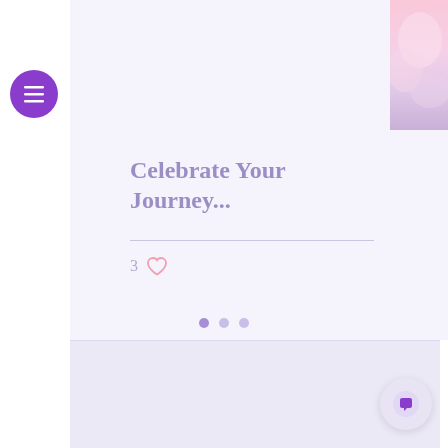[Figure (photo): Flower/floral image in top right corner with pink and purple petals]
[Figure (infographic): Purple circular hamburger menu button with three white horizontal lines]
Celebrate Your Journey...
3 ♡
[Figure (infographic): Pagination dots: three dots, first one active (darker purple), two inactive]
[Figure (infographic): Chat/message button in bottom right, purple speech bubble icon on light background]